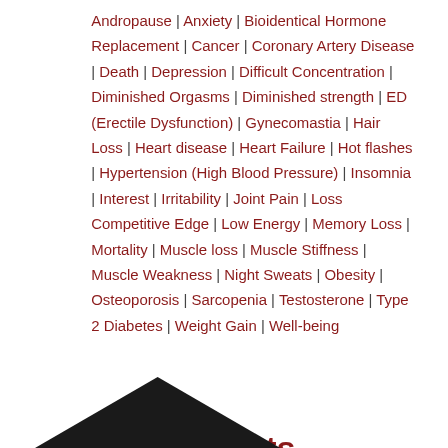Andropause | Anxiety | Bioidentical Hormone Replacement | Cancer | Coronary Artery Disease | Death | Depression | Difficult Concentration | Diminished Orgasms | Diminished strength | ED (Erectile Dysfunction) | Gynecomastia | Hair Loss | Heart disease | Heart Failure | Hot flashes | Hypertension (High Blood Pressure) | Insomnia | Interest | Irritability | Joint Pain | Loss Competitive Edge | Low Energy | Memory Loss | Mortality | Muscle loss | Muscle Stiffness | Muscle Weakness | Night Sweats | Obesity | Osteoporosis | Sarcopenia | Testosterone | Type 2 Diabetes | Weight Gain | Well-being
0 Comments